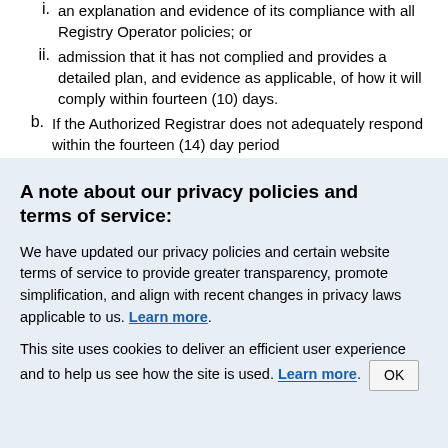i. an explanation and evidence of its compliance with all Registry Operator policies; or
ii. admission that it has not complied and provides a detailed plan, and evidence as applicable, of how it will comply within fourteen (10) days.
b. If the Authorized Registrar does not adequately respond within the fourteen (14) day period
A note about our privacy policies and terms of service:
We have updated our privacy policies and certain website terms of service to provide greater transparency, promote simplification, and align with recent changes in privacy laws applicable to us. Learn more.
This site uses cookies to deliver an efficient user experience and to help us see how the site is used. Learn more. OK